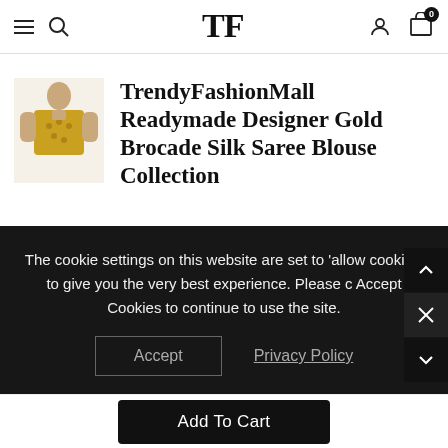[Figure (screenshot): E-commerce website header with hamburger menu icon, search icon, TF logo, user icon, and cart icon with badge showing 0]
[Figure (photo): Small product thumbnail image of a woman wearing gold brocade silk saree blouse]
TrendyFashionMall Readymade Designer Gold Brocade Silk Saree Blouse Collection
The cookie settings on this website are set to 'allow cookies' to give you the very best experience. Please Accept Cookies to continue to use the site.
Accept
Privacy Policy
Add To Cart